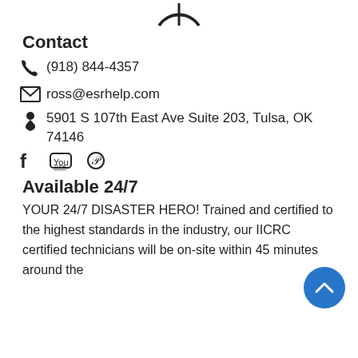[Figure (logo): Partial circular logo at top center]
Contact
(918) 844-4357
ross@esrhelp.com
5901 S 107th East Ave Suite 203, Tulsa, OK 74146
[Figure (other): Social media icons: Facebook, YouTube, Pinterest]
Available 24/7
YOUR 24/7 DISASTER HERO! Trained and certified to the highest standards in the industry, our IICRC certified technicians will be on-site within 45 minutes around the
[Figure (other): Blue circular scroll-up button with chevron]